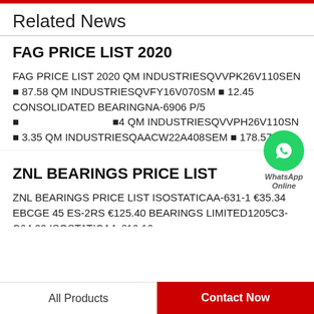Related News
FAG PRICE LIST 2020
FAG PRICE LIST 2020 QM INDUSTRIESQVVPK26V110SEN ￠ 87.58 QM INDUSTRIESQVFY16V070SM ￠ 12.45 CONSOLIDATED BEARINGNA-6906 P/5 ￠ 04 QM INDUSTRIESQVVPH26V110SN ￠ 3.35 QM INDUSTRIESQAACW22A408SEM ￠ 178.57
ZNL BEARINGS PRICE LIST
ZNL BEARINGS PRICE LIST ISOSTATICAA-631-1 €35.34 EBCGE 45 ES-2RS €125.40 BEARINGS LIMITED1205C3-C64.22 ISOSTATICAA-€10.16
All Products   Contact Now